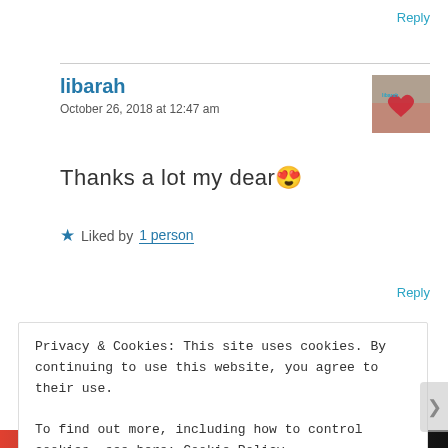Reply
libarah
October 26, 2018 at 12:47 am
Thanks a lot my dear 😍
★ Liked by 1 person
Reply
Privacy & Cookies: This site uses cookies. By continuing to use this website, you agree to their use.
To find out more, including how to control cookies, see here: Cookie Policy
Close and accept